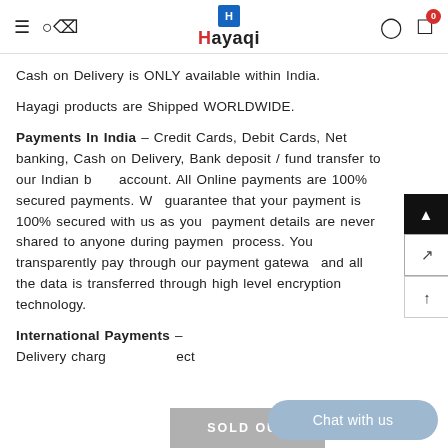Hayagi
Cash on Delivery is ONLY available within India.
Hayagi products are Shipped WORLDWIDE.
Payments In India - Credit Cards, Debit Cards, Net banking, Cash on Delivery, Bank deposit / fund transfer to our Indian bank account. All Online payments are 100% secured payments. We guarantee that your payment is 100% secured with us as your payment details are never shared to anyone during payment process. You transparently pay through our payment gateway and all the data is transferred through high level encryption technology.
International Payments - Delivery charges are subject